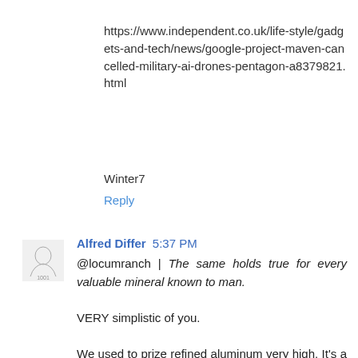https://www.independent.co.uk/life-style/gadgets-and-tech/news/google-project-maven-cancelled-military-ai-drones-pentagon-a8379821.html
Winter7
Reply
Alfred Differ 5:37 PM
@locumranch | The same holds true for every valuable mineral known to man.

VERY simplistic of you.

We used to prize refined aluminum very high. It's a pain in the butt to reduce it... until we figured out how to do it with less expense and then the price plummeted... until we found new uses for it and the price went back up.